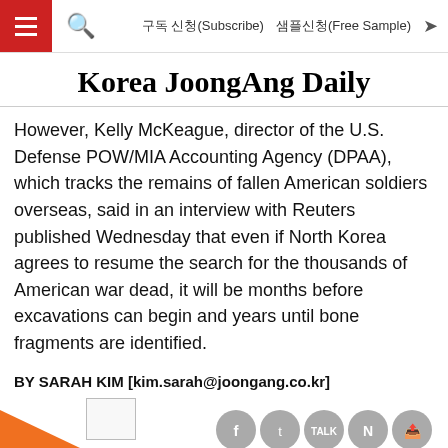Korea JoongAng Daily — 구독 신청(Subscribe)   샘플신청(Free Sample)
Korea JoongAng Daily
However, Kelly McKeague, director of the U.S. Defense POW/MIA Accounting Agency (DPAA), which tracks the remains of fallen American soldiers overseas, said in an interview with Reuters published Wednesday that even if North Korea agrees to resume the search for the thousands of American war dead, it will be months before excavations can begin and years until bone fragments are identified.
BY SARAH KIM [kim.sarah@joongang.co.kr]